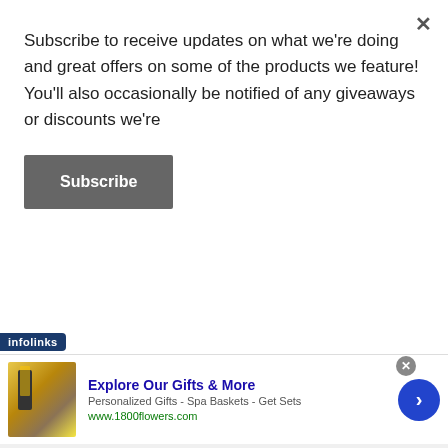Subscribe to receive updates on what we're doing and great offers on some of the products we feature! You'll also occasionally be notified of any giveaways or discounts we're
Subscribe
of Health Behavior that had divided participants into five groups of increasing social media connectivity:
[Figure (screenshot): Infolinks ad network banner with 1800flowers.com advertisement showing gift products, title 'Explore Our Gifts & More', description 'Personalized Gifts - Spa Baskets - Get Sets', URL www.1800flowers.com, and a blue circle arrow button]